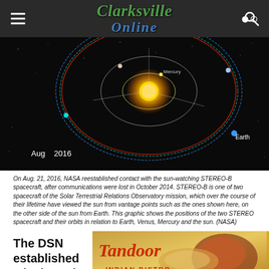Clarksville Online
[Figure (illustration): NASA graphic showing orbital paths of STEREO spacecraft, Earth, Venus, Mercury around the sun. Date label 'Aug 2016' bottom left, 'Earth' label at bottom center. Black background with colored orbit rings.]
On Aug. 21, 2016, NASA reestablished contact with the sun-watching STEREO-B spacecraft, after communications were lost in October 2014. STEREO-B is one of two spacecraft of the Solar Terrestrial Relations Observatory mission, which over the course of their lifetime have viewed the sun from vantage points such as the ones shown here, on the other side of the sun from Earth. This graphic shows the positions of the two STEREO spacecraft and their orbits in relation to Earth, Venus, Mercury and the sun. (NASA)
The DSN established a lock on the
[Figure (photo): Tandoor Indian Bistro advertisement showing food items]